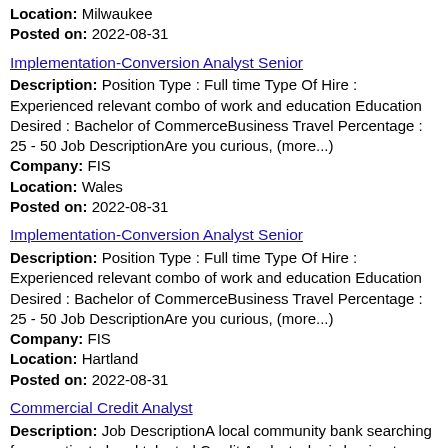Location: Milwaukee
Posted on: 2022-08-31
Implementation-Conversion Analyst Senior
Description: Position Type : Full time Type Of Hire : Experienced relevant combo of work and education Education Desired : Bachelor of CommerceBusiness Travel Percentage : 25 - 50 Job DescriptionAre you curious, (more...)
Company: FIS
Location: Wales
Posted on: 2022-08-31
Implementation-Conversion Analyst Senior
Description: Position Type : Full time Type Of Hire : Experienced relevant combo of work and education Education Desired : Bachelor of CommerceBusiness Travel Percentage : 25 - 50 Job DescriptionAre you curious, (more...)
Company: FIS
Location: Hartland
Posted on: 2022-08-31
Commercial Credit Analyst
Description: Job DescriptionA local community bank searching for a motivated and talented Credit Analyst who is hoping to advance their career in the credit/underwriting field. As a Commercial Credit Analyst, you (more...)
Company: Gpac
Location: Milwaukee